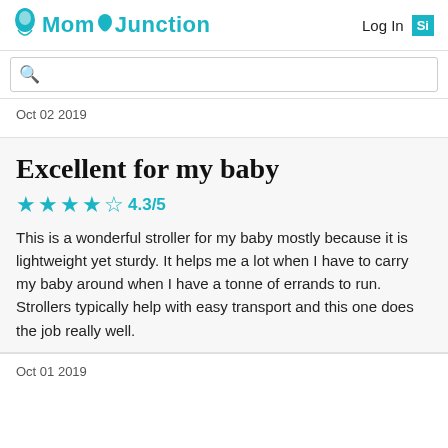MomJunction  Log In  Si
Oct 02 2019
Excellent for my baby
★★★★½ 4.3/5
This is a wonderful stroller for my baby mostly because it is lightweight yet sturdy. It helps me a lot when I have to carry my baby around when I have a tonne of errands to run. Strollers typically help with easy transport and this one does the job really well.
Oct 01 2019